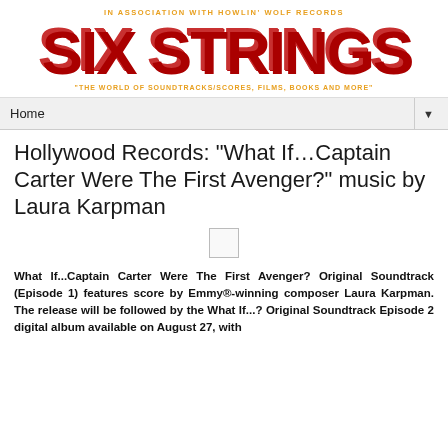IN ASSOCIATION WITH HOWLIN' WOLF RECORDS
SIX STRINGS
'THE WORLD OF SOUNDTRACKS/SCORES, FILMS, BOOKS AND MORE'
Home
Hollywood Records: "What If…Captain Carter Were The First Avenger?" music by Laura Karpman
[Figure (other): Small placeholder image box]
What If...Captain Carter Were The First Avenger? Original Soundtrack (Episode 1) features score by Emmy®-winning composer Laura Karpman. The release will be followed by the What If...? Original Soundtrack Episode 2 digital album available on August 27, with